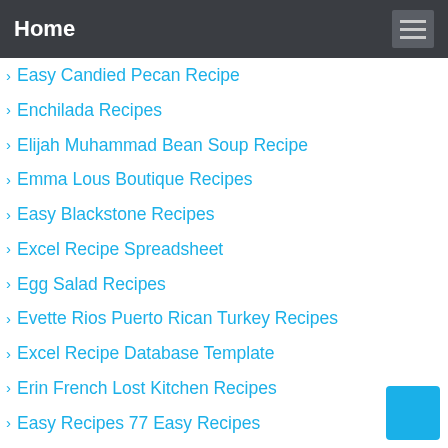Home
Easy Candied Pecan Recipe
Enchilada Recipes
Elijah Muhammad Bean Soup Recipe
Emma Lous Boutique Recipes
Easy Blackstone Recipes
Excel Recipe Spreadsheet
Egg Salad Recipes
Evette Rios Puerto Rican Turkey Recipes
Excel Recipe Database Template
Erin French Lost Kitchen Recipes
Easy Recipes 77 Easy Recipes
Eileens Cookies Frosting Recipe